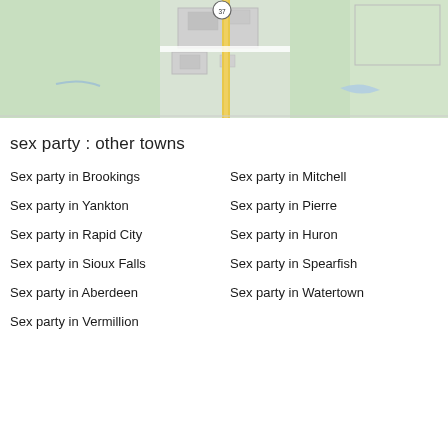[Figure (map): Google Maps-style map snippet showing route 37 through a small town with green background, roads, and building outlines. A yellow road runs vertically through the center.]
sex party : other towns
Sex party in Brookings
Sex party in Mitchell
Sex party in Yankton
Sex party in Pierre
Sex party in Rapid City
Sex party in Huron
Sex party in Sioux Falls
Sex party in Spearfish
Sex party in Aberdeen
Sex party in Watertown
Sex party in Vermillion